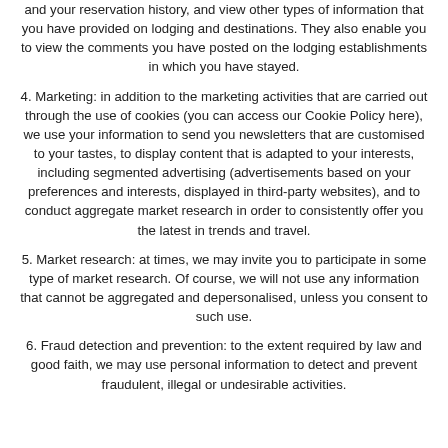and your reservation history, and view other types of information that you have provided on lodging and destinations. They also enable you to view the comments you have posted on the lodging establishments in which you have stayed.
4. Marketing: in addition to the marketing activities that are carried out through the use of cookies (you can access our Cookie Policy here), we use your information to send you newsletters that are customised to your tastes, to display content that is adapted to your interests, including segmented advertising (advertisements based on your preferences and interests, displayed in third-party websites), and to conduct aggregate market research in order to consistently offer you the latest in trends and travel.
5. Market research: at times, we may invite you to participate in some type of market research. Of course, we will not use any information that cannot be aggregated and depersonalised, unless you consent to such use.
6. Fraud detection and prevention: to the extent required by law and good faith, we may use personal information to detect and prevent fraudulent, illegal or undesirable activities.